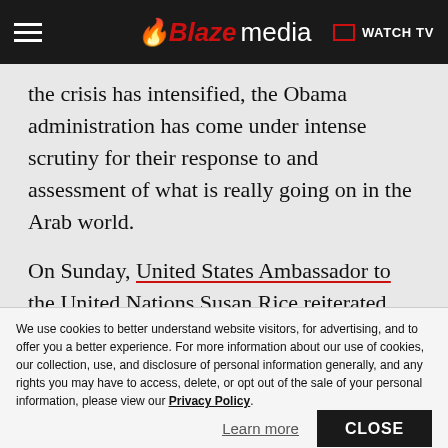Blaze media — WATCH TV
the crisis has intensified, the Obama administration has come under intense scrutiny for their response to and assessment of what is really going on in the Arab world.
On Sunday, United States Ambassador to the United Nations Susan Rice reiterated White House Press Secretary Jay Carney's comments Friday that all the violence and protests in the Middle East.
We use cookies to better understand website visitors, for advertising, and to offer you a better experience. For more information about our use of cookies, our collection, use, and disclosure of personal information generally, and any rights you may have to access, delete, or opt out of the sale of your personal information, please view our Privacy Policy.
Learn more
CLOSE